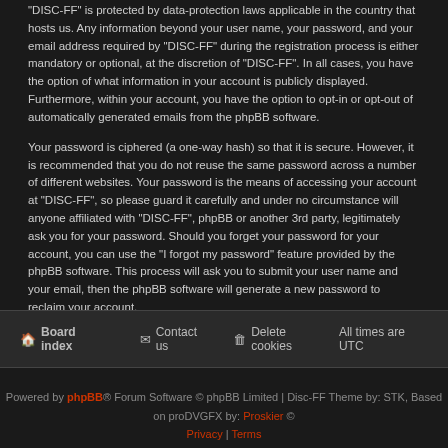"DISC-FF" is protected by data-protection laws applicable in the country that hosts us. Any information beyond your user name, your password, and your email address required by "DISC-FF" during the registration process is either mandatory or optional, at the discretion of "DISC-FF". In all cases, you have the option of what information in your account is publicly displayed. Furthermore, within your account, you have the option to opt-in or opt-out of automatically generated emails from the phpBB software.
Your password is ciphered (a one-way hash) so that it is secure. However, it is recommended that you do not reuse the same password across a number of different websites. Your password is the means of accessing your account at "DISC-FF", so please guard it carefully and under no circumstance will anyone affiliated with "DISC-FF", phpBB or another 3rd party, legitimately ask you for your password. Should you forget your password for your account, you can use the "I forgot my password" feature provided by the phpBB software. This process will ask you to submit your user name and your email, then the phpBB software will generate a new password to reclaim your account.
Board index | Contact us | Delete cookies | All times are UTC
Powered by phpBB® Forum Software © phpBB Limited | Disc-FF Theme by: STK, Based on proDVGFX by: Proskier © Privacy | Terms